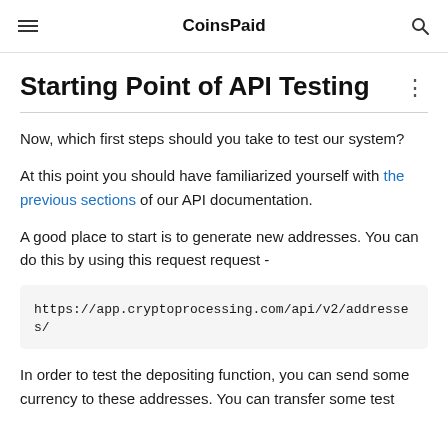CoinsPaid
Starting Point of API Testing
Now, which first steps should you take to test our system?
At this point you should have familiarized yourself with the previous sections of our API documentation.
A good place to start is to generate new addresses. You can do this by using this request request -
https://app.cryptoprocessing.com/api/v2/addresses/
In order to test the depositing function, you can send some currency to these addresses. You can transfer some test